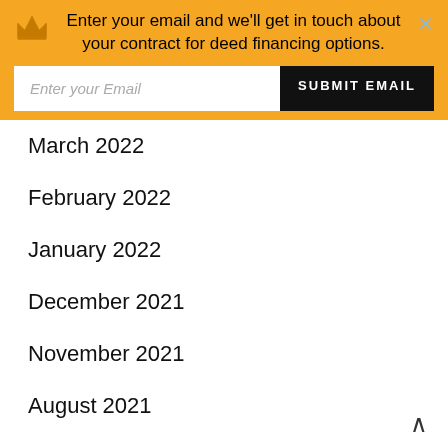[Figure (infographic): Orange banner with crown icon, text prompting email entry for contract for deed financing options, email input field, and SUBMIT EMAIL button. An X close button in the top right.]
March 2022
February 2022
January 2022
December 2021
November 2021
August 2021
July 2021
May 2021
April 2021